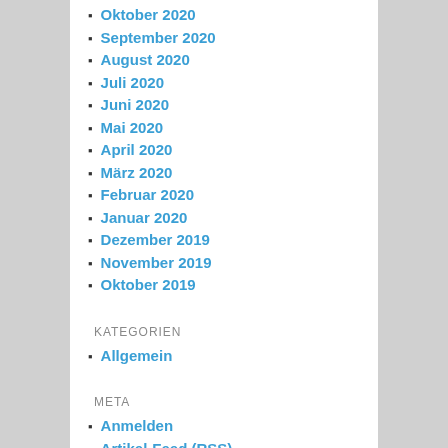Oktober 2020
September 2020
August 2020
Juli 2020
Juni 2020
Mai 2020
April 2020
März 2020
Februar 2020
Januar 2020
Dezember 2019
November 2019
Oktober 2019
KATEGORIEN
Allgemein
META
Anmelden
Artikel-Feed (RSS)